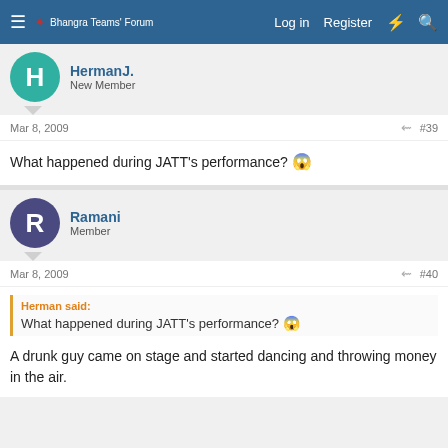Bhangra Teams' Forum — Log in | Register
HermanJ. — New Member
Mar 8, 2009  #39
What happened during JATT's performance? 😱
Ramani — Member
Mar 8, 2009  #40
Herman said: What happened during JATT's performance? 😱
A drunk guy came on stage and started dancing and throwing money in the air.